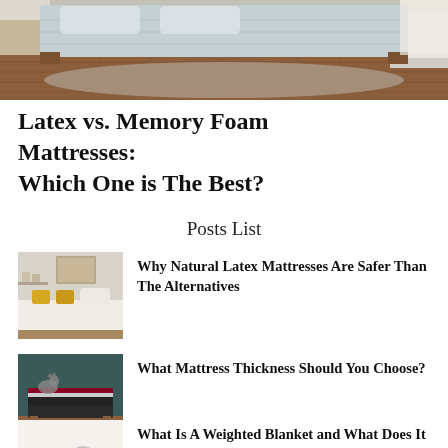[Figure (photo): Top portion of a bedroom with a blue/grey mattress on a wooden bed frame, wooden floor, and white walls. Partial view cropped from the top.]
Latex vs. Memory Foam Mattresses: Which One is The Best?
Posts List
[Figure (photo): Bedroom with white bedding, yellow accent pillows, and wall art]
Why Natural Latex Mattresses Are Safer Than The Alternatives
[Figure (photo): Mattress on a wooden bed frame against a dark teal wall]
What Mattress Thickness Should You Choose?
[Figure (photo): Partial view of person/animal on white surface, cropped]
What Is A Weighted Blanket and What Does It Do?